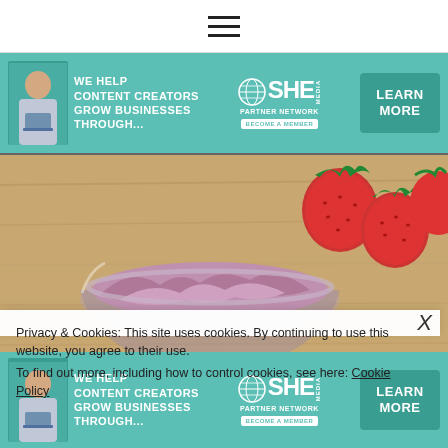hamburger menu icon
[Figure (infographic): SHE Partner Network advertisement banner: teal background, woman with laptop, text WE HELP CONTENT CREATORS GROW BUSINESSES THROUGH..., SHE Partner Network logo, BECOME A MEMBER button, LEARN MORE green button]
[Figure (photo): Overhead view of strawberry ice cream in a glass bowl on a wooden surface, with fresh strawberries in the background]
Privacy & Cookies: This site uses cookies. By continuing to use this website, you agree to their use.
To find out more, including how to control cookies, see here: Cookie Policy
[Figure (infographic): SHE Partner Network advertisement banner (bottom): teal background, woman with laptop, text WE HELP CONTENT CREATORS GROW BUSINESSES THROUGH..., SHE Partner Network logo, BECOME A MEMBER button, LEARN MORE green button]